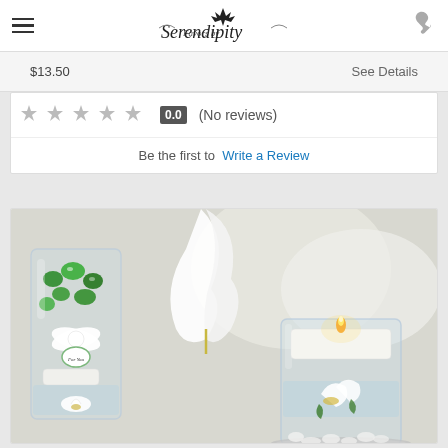Favors by Serendipity
$13.50   See Details
0.0 (No reviews)
Be the first to Write a Review
[Figure (photo): Product photo showing floating candle favors in glass vases with calla lilies and green gems, with white ribbon and 'For You' tag]